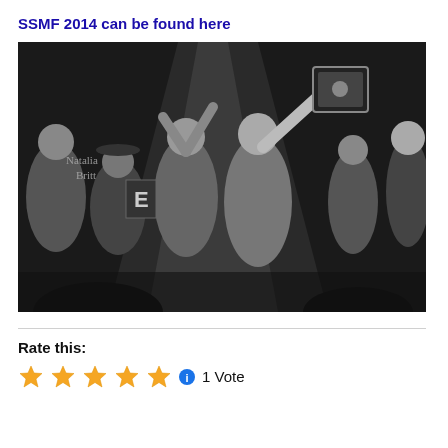SSMF 2014 can be found here
[Figure (photo): Black and white concert/award ceremony photo with watermark 'Natalia Britt'. Several people on a dark stage, center person with tattoos holding a plaque overhead, others around them smiling and celebrating.]
Rate this:
1 Vote